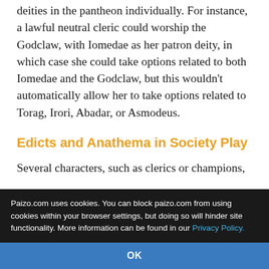deities in the pantheon individually. For instance, a lawful neutral cleric could worship the Godclaw, with Iomedae as her patron deity, in which case she could take options related to both Iomedae and the Godclaw, but this wouldn't automatically allow her to take options related to Torag, Irori, Abadar, or Asmodeus.
Edicts and Anathema in Society Play
Several characters, such as clerics or champions, must abide by the edicts and anathema of their deity to receive divine powers from that deity. To allow a wide variety of characters in Society play, the rules
Paizo.com uses cookies. You can block paizo.com from using cookies within your browser settings, but doing so will hinder site functionality. More information can be found in our Privacy Policy.
OK